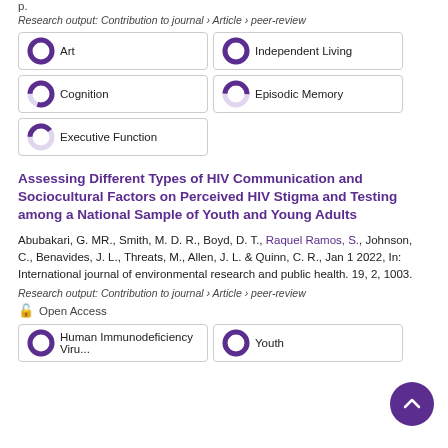p.
Research output: Contribution to journal › Article › peer-review
[Figure (infographic): Keyword badges with donut-style percentage indicators: Art 100%, Independent Living 100%, Cognition 80%, Episodic Memory 50%, Executive Function 40%]
Assessing Different Types of HIV Communication and Sociocultural Factors on Perceived HIV Stigma and Testing among a National Sample of Youth and Young Adults
Abubakari, G. MR., Smith, M. D. R., Boyd, D. T., Raquel Ramos, S., Johnson, C., Benavides, J. L., Threats, M., Allen, J. L. & Quinn, C. R., Jan 1 2022, In: International journal of environmental research and public health. 19, 2, 1003.
Research output: Contribution to journal › Article › peer-review
Open Access
[Figure (infographic): Keyword badges: Human Immunodeficiency Virus 100%, Youth 100%]